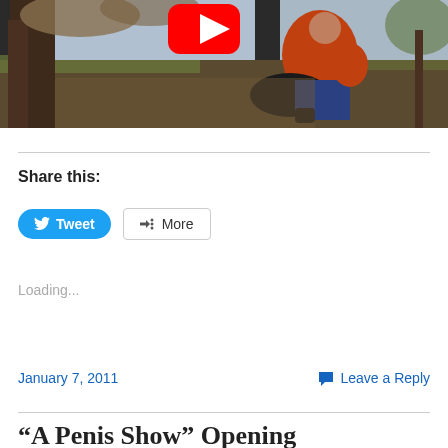[Figure (screenshot): YouTube video thumbnail showing a person in an orange jacket sitting outdoors with a dog, with a YouTube play button overlay in the upper center. Background shows trees and a yard with fallen leaves.]
Share this:
Tweet  More
Loading...
January 7, 2011      Leave a Reply
“A Penis Show” Opening